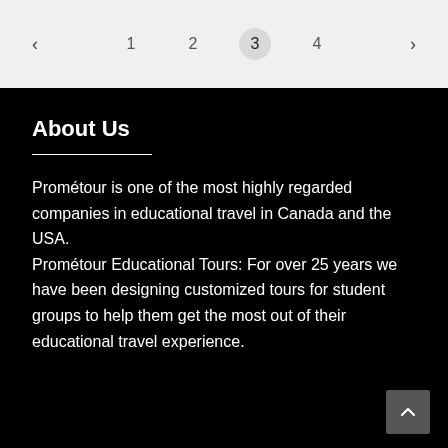< 1 2 3 4 >
About Us
Prométour is one of the most highly regarded companies in educational travel in Canada and the USA. Prométour Educational Tours: For over 25 years we have been designing customized tours for student groups to help them get the most out of their educational travel experience.